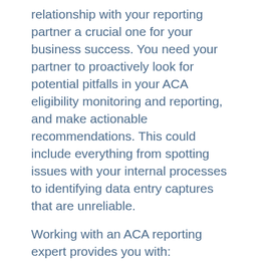relationship with your reporting partner a crucial one for your business success. You need your partner to proactively look for potential pitfalls in your ACA eligibility monitoring and reporting, and make actionable recommendations. This could include everything from spotting issues with your internal processes to identifying data entry captures that are unreliable.
Working with an ACA reporting expert provides you with:
Education and training for your team
Proactive services
Reduced frustration for your team
Increased efficiency in eligibility management and